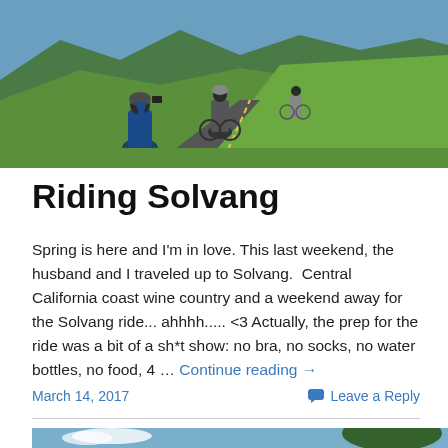[Figure (photo): Cyclists on a road through green rolling hills and vineyards under blue sky, with mountains in background. One cyclist in foreground is taking a photo.]
Riding Solvang
Spring is here and I'm in love. This last weekend, the husband and I traveled up to Solvang.  Central California coast wine country and a weekend away for the Solvang ride... ahhhh..... <3 Actually, the prep for the ride was a bit of a sh*t show: no bra, no socks, no water bottles, no food, 4 … Continue reading →
March 14, 2017
Leave a Reply
[Figure (photo): Partial view of a landscape with blue sky, clouds and a large tree.]